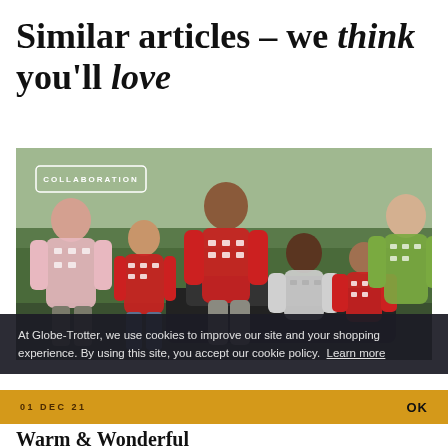Similar articles – we think you'll love
[Figure (photo): Group of six people wearing patterned sweaters (red, pink, green, white) standing outdoors near a car with trees in background. A 'COLLABORATION' badge is overlaid on the upper left of the image.]
At Globe-Trotter, we use cookies to improve our site and your shopping experience. By using this site, you accept our cookie policy. Learn more
01 DEC 21
OK
Warm & Wonderful